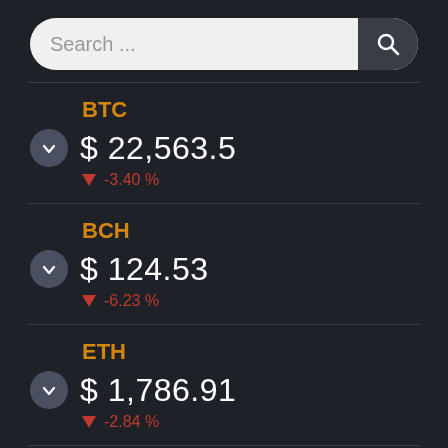Search ...
BTC $ 22,563.5 -3.40 %
BCH $ 124.53 -6.23 %
ETH $ 1,786.91 -2.84 %
LTC